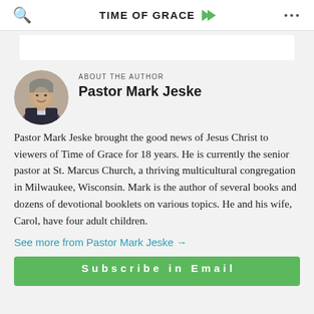TIME OF GRACE
[Figure (photo): Circular portrait photo of Pastor Mark Jeske, a man in a dark suit, smiling, against a blurred background.]
ABOUT THE AUTHOR
Pastor Mark Jeske
Pastor Mark Jeske brought the good news of Jesus Christ to viewers of Time of Grace for 18 years. He is currently the senior pastor at St. Marcus Church, a thriving multicultural congregation in Milwaukee, Wisconsin. Mark is the author of several books and dozens of devotional booklets on various topics. He and his wife, Carol, have four adult children.
See more from Pastor Mark Jeske →